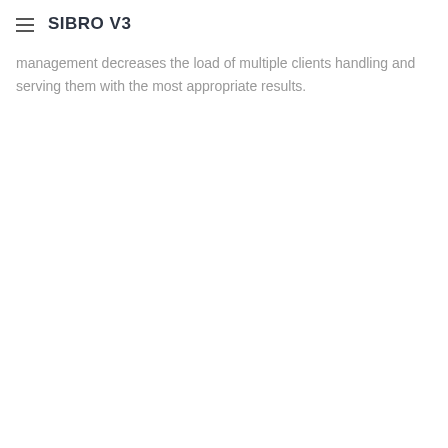SIBRO V3
management decreases the load of multiple clients handling and serving them with the most appropriate results.